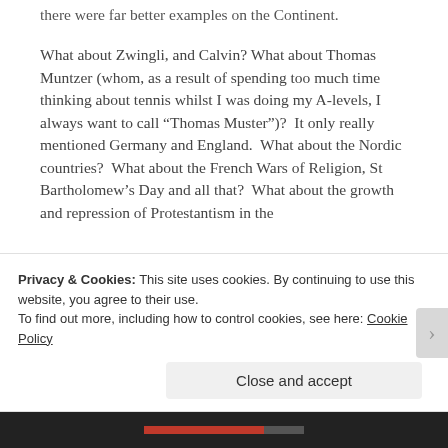there were far better examples on the Continent.
What about Zwingli, and Calvin? What about Thomas Muntzer (whom, as a result of spending too much time thinking about tennis whilst I was doing my A-levels, I always want to call “Thomas Muster”)?  It only really mentioned Germany and England.  What about the Nordic countries?  What about the French Wars of Religion, St Bartholomew’s Day and all that?  What about the growth and repression of Protestantism in the
Privacy & Cookies: This site uses cookies. By continuing to use this website, you agree to their use.
To find out more, including how to control cookies, see here: Cookie Policy
Close and accept